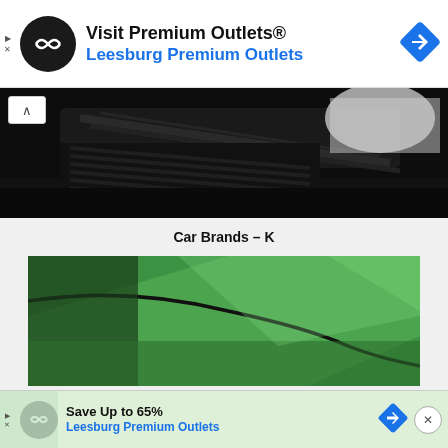[Figure (screenshot): Top advertisement banner for Premium Outlets with circular logo, text 'Visit Premium Outlets® Leesburg Premium Outlets', and blue navigation diamond icon]
[Figure (photo): Close-up photo of dark black car body panel detail]
Car Brands – K
[Figure (photo): Close-up photo of green sports car body panel with curved black line detail]
[Figure (screenshot): Bottom advertisement banner for Leesburg Premium Outlets with text 'Save Up to 65%' and blue navigation icon]